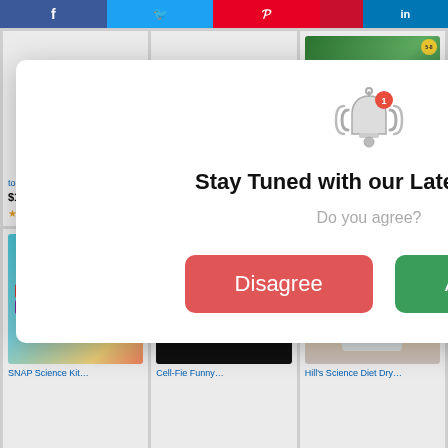[Figure (screenshot): Social media share bar with Facebook, Twitter, Pinterest, LinkedIn buttons at top]
[Figure (screenshot): Modal popup dialog with bell notification icon, 'Stay Tuned with our Latest news:' title, 'Do you agree?' subtitle, and Disagree/Agree buttons]
[Figure (screenshot): Product grid showing Amazon-style product cards: Mark Twain General Science book ($11.29, prime, 4 stars, 625 reviews), truncated product for 'to Ace Science in...' ($10.34, prime, 10280 reviews), 'Dog Food, Puppy,...' ($38.99, prime, 9442 reviews), SNAP Science Kit image, Cell-fie Funny t-shirt image, Hill's Science Diet Dry dog food image]